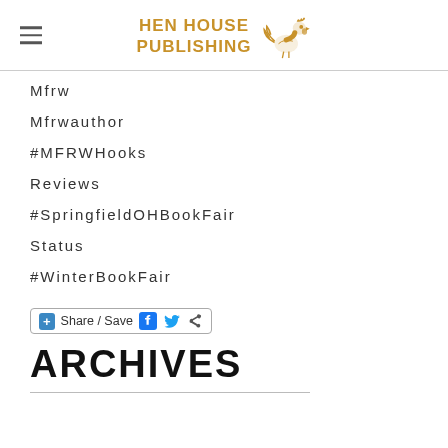HEN HOUSE PUBLISHING
Mfrw
Mfrwauthor
#MFRWHooks
Reviews
#SpringfieldOHBookFair
Status
#WinterBookFair
[Figure (other): Share / Save social sharing button bar with Facebook, Twitter and share icons]
ARCHIVES